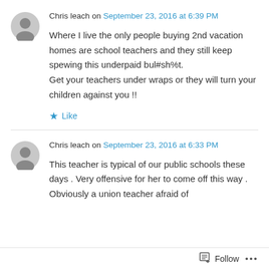[Figure (illustration): Grey circular user avatar icon]
Chris leach on September 23, 2016 at 6:39 PM
Where I live the only people buying 2nd vacation homes are school teachers and they still keep spewing this underpaid bul#sh%t.
Get your teachers under wraps or they will turn your children against you !!
★ Like
[Figure (illustration): Grey circular user avatar icon]
Chris leach on September 23, 2016 at 6:33 PM
This teacher is typical of our public schools these days . Very offensive for her to come off this way . Obviously a union teacher afraid of
Follow  ...